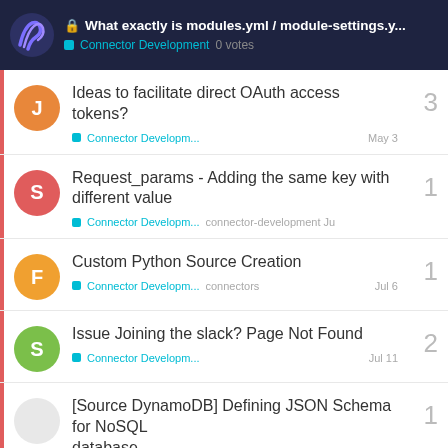What exactly is modules.yml / module-settings.y... | Connector Development 0 votes
Ideas to facilitate direct OAuth access tokens? | Connector Developm... | May 3 | 3 replies
Request_params - Adding the same key with different value | Connector Developm... connector-development | Ju | 1 reply
Custom Python Source Creation | Connector Developm... connectors | Jul 6 | 1 reply
Issue Joining the slack? Page Not Found | Connector Developm... | Jul 11 | 2 replies
[Source DynamoDB] Defining JSON Schema for NoSQL database... | 1 reply